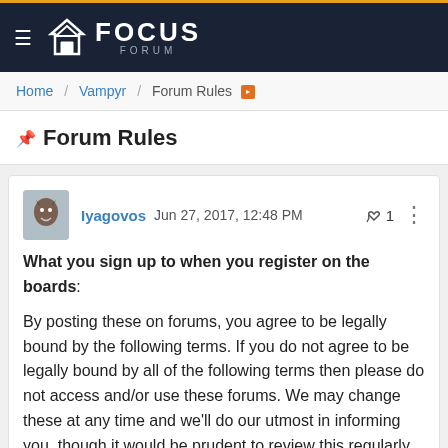Focus Forum
Home / Vampyr / Forum Rules
📌 Forum Rules
Iyagovos Jun 27, 2017, 12:48 PM  👍 1 ⋮
What you sign up to when you register on the boards:

By posting these on forums, you agree to be legally bound by the following terms. If you do not agree to be legally bound by all of the following terms then please do not access and/or use these forums. We may change these at any time and we'll do our utmost in informing you, though it would be prudent to review this regularly yourself as your continued usage of these forums after changes mean you agree to be legally bound by these terms as